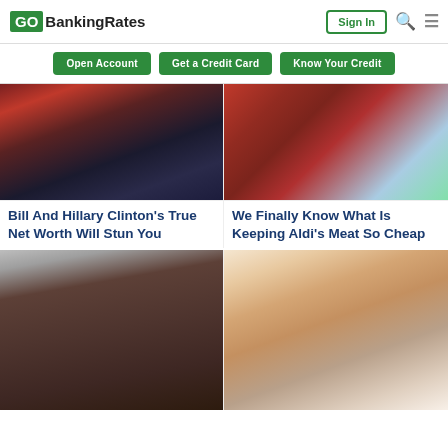GOBankingRates
Open Account | Get a Credit Card | Know Your Credit
[Figure (photo): Photo of Bill and Hillary Clinton smiling together]
Bill And Hillary Clinton's True Net Worth Will Stun You
[Figure (photo): Photo of stacked raw red meat cuts on a wooden board]
We Finally Know What Is Keeping Aldi's Meat So Cheap
[Figure (photo): Close-up portrait photo of O.J. Simpson]
[Figure (photo): Portrait photo of Chelsea Clinton smiling]